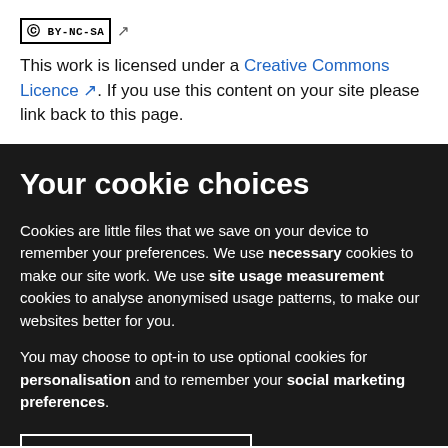[Figure (logo): Creative Commons BY-NC-SA license badge with external link icon]
This work is licensed under a Creative Commons Licence. If you use this content on your site please link back to this page.
Your cookie choices
Cookies are little files that we save on your device to remember your preferences. We use necessary cookies to make our site work. We use site usage measurement cookies to analyse anonymised usage patterns, to make our websites better for you.
You may choose to opt-in to use optional cookies for personalisation and to remember your social marketing preferences.
Give me more information